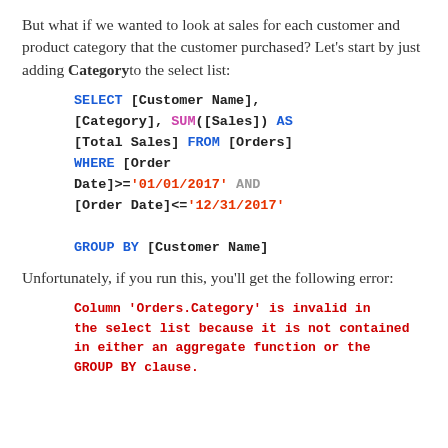But what if we wanted to look at sales for each customer and product category that the customer purchased? Let's start by just adding Category to the select list:
SELECT [Customer Name], [Category], SUM([Sales]) AS [Total Sales] FROM [Orders] WHERE [Order Date]>='01/01/2017' AND [Order Date]<='12/31/2017'
GROUP BY [Customer Name]
Unfortunately, if you run this, you'll get the following error:
Column 'Orders.Category' is invalid in the select list because it is not contained in either an aggregate function or the GROUP BY clause.